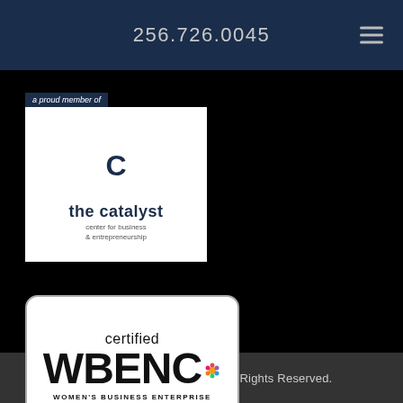256.726.0045
[Figure (logo): The Catalyst Center for Business & Entrepreneurship membership logo with colorful circular C icon and text 'a proud member of / the catalyst / center for business & entrepreneurship']
[Figure (logo): Certified WBENC Women's Business Enterprise logo in white rounded rectangle with black text]
© 2022 MSB Analytics, Inc.. All Rights Reserved.